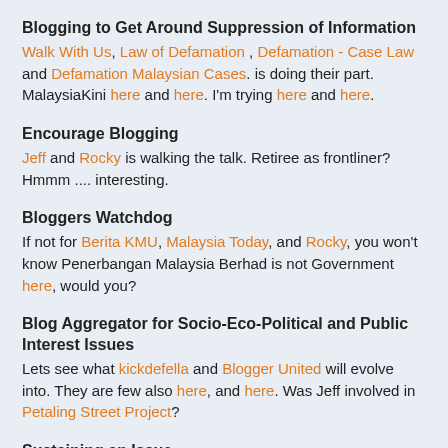Blogging to Get Around Suppression of Information
Walk With Us, Law of Defamation , Defamation - Case Law and Defamation Malaysian Cases. is doing their part. MalaysiaKini here and here. I'm trying here and here.
Encourage Blogging
Jeff and Rocky is walking the talk. Retiree as frontliner? Hmmm .... interesting.
Bloggers Watchdog
If not for Berita KMU, Malaysia Today, and Rocky, you won't know Penerbangan Malaysia Berhad is not Government here, would you?
Blog Aggregator for Socio-Eco-Political and Public Interest Issues
Lets see what kickdefella and Blogger United will evolve into. They are few also here, and here. Was Jeff involved in Petaling Street Project?
Sustaining an Issue